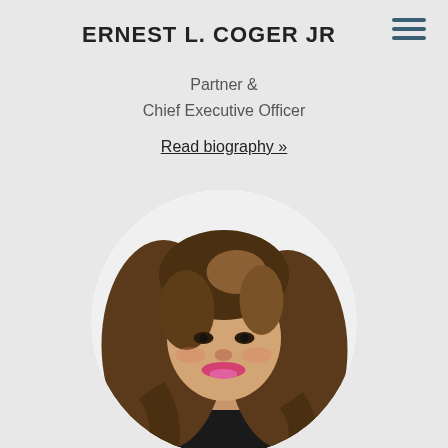ERNEST L. COGER JR
Partner &
Chief Executive Officer
Read biography »
[Figure (photo): Circular portrait photo of a woman with long wavy brown hair, wearing a black top, smiling, against a white circular background on a light grey page.]